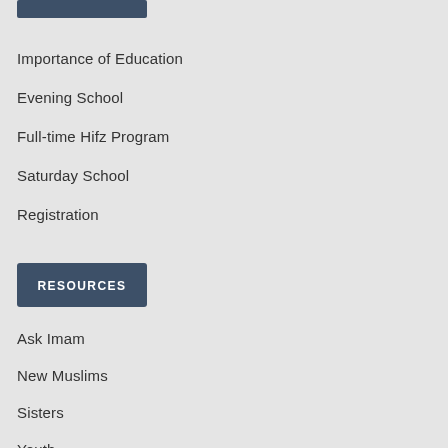Importance of Education
Evening School
Full-time Hifz Program
Saturday School
Registration
RESOURCES
Ask Imam
New Muslims
Sisters
Youth